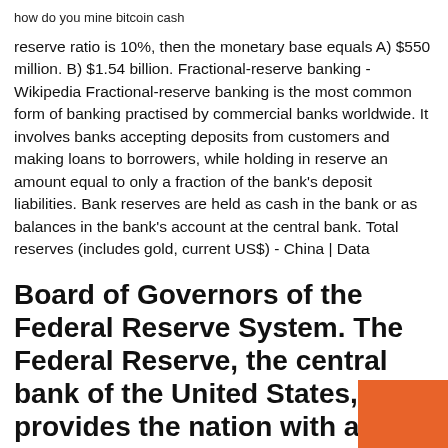how do you mine bitcoin cash
reserve ratio is 10%, then the monetary base equals A) $550 million. B) $1.54 billion. Fractional-reserve banking - Wikipedia Fractional-reserve banking is the most common form of banking practised by commercial banks worldwide. It involves banks accepting deposits from customers and making loans to borrowers, while holding in reserve an amount equal to only a fraction of the bank's deposit liabilities. Bank reserves are held as cash in the bank or as balances in the bank's account at the central bank. Total reserves (includes gold, current US$) - China | Data
Board of Governors of the Federal Reserve System. The Federal Reserve, the central bank of the United States, provides the nation with a safe, flexible, and stable monetary